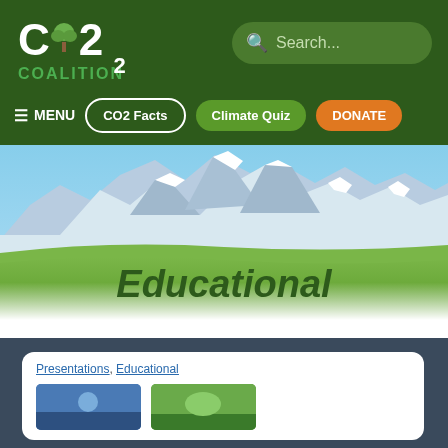CO2 Coalition
Search...
≡ MENU   CO2 Facts   Climate Quiz   DONATE
[Figure (photo): Mountain landscape with snow-capped peaks, blue sky, and green foreground meadow fading to white at bottom]
Educational
Presentations, Educational